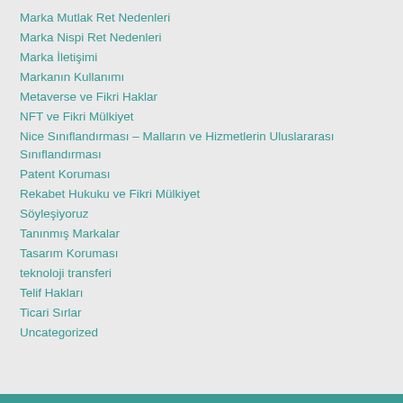Marka Mutlak Ret Nedenleri
Marka Nispi Ret Nedenleri
Marka İletişimi
Markanın Kullanımı
Metaverse ve Fikri Haklar
NFT ve Fikri Mülkiyet
Nice Sınıflandırması – Malların ve Hizmetlerin Uluslararası Sınıflandırması
Patent Koruması
Rekabet Hukuku ve Fikri Mülkiyet
Söyleşiyoruz
Tanınmış Markalar
Tasarım Koruması
teknoloji transferi
Telif Hakları
Ticari Sırlar
Uncategorized